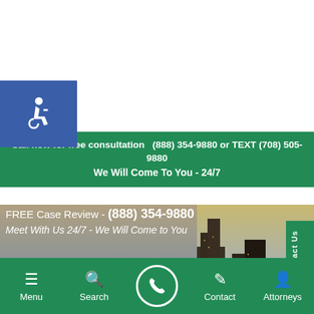[Figure (logo): Blue accessibility icon (wheelchair symbol) on blue square background]
Call now for free consultation  (888) 354-9880 or TEXT (708) 505-9880
We Will Come To You - 24/7
[Figure (photo): City skyline background photo with tall buildings at dusk/golden hour]
FREE Case Review - (888) 354-9880
Meet With Us 24/7 - We Will Come to You
[Figure (other): Contact Us vertical sidebar tab (green)]
Cicero Injury and Car Accident
Menu  Search  [phone button]  Contact  Attorneys
In Cicero, Dixon Law Office is the best personal injury law firm. Why? Dixon Law